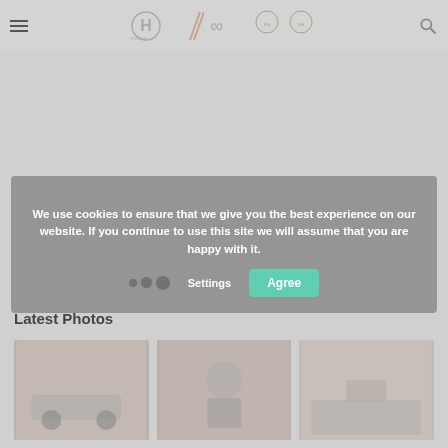[Figure (screenshot): Hyundai Motorsport website navigation bar with hamburger menu, Hyundai Motorsport logo with slash and infinity symbol, two FIA championship badges, and search icon]
We use cookies to ensure that we give you the best experience on our website. If you continue to use this site we will assume that you are happy with it.
Settings
Agree
Latest Photos
[Figure (photo): Three motorsport/rally photo thumbnails showing rally cars and drivers]